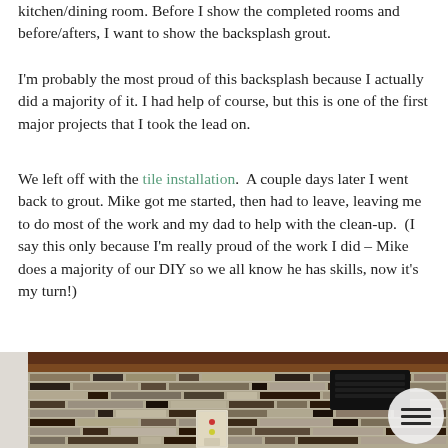kitchen/dining room. Before I show the completed rooms and before/afters, I want to show the backsplash grout.
I'm probably the most proud of this backsplash because I actually did a majority of it.  I had help of course, but this is one of the first major projects that I took the lead on.
We left off with the tile installation.  A couple days later I went back to grout. Mike got me started, then had to leave, leaving me to do most of the work and my dad to help with the clean-up.  (I say this only because I'm really proud of the work I did – Mike does a majority of our DIY so we all know he has skills, now it's my turn!)
[Figure (photo): Photo of a kitchen backsplash with mixed linear stone and glass tiles in brown, black, and tan tones. Dark wood cabinets visible at the top. A black speaker/audio device is mounted under the cabinet on the right. A white electrical outlet plate is visible in the lower center. A circular menu icon appears in the bottom right corner.]